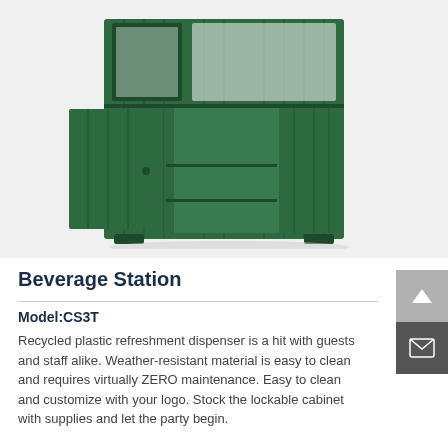[Figure (photo): Green recycled plastic beverage station cabinet with open lower door revealing shelves inside, shown at an angle against a light gray background.]
Beverage Station
Model:CS3T
Recycled plastic refreshment dispenser is a hit with guests and staff alike. Weather-resistant material is easy to clean and requires virtually ZERO maintenance. Easy to clean and customize with your logo. Stock the lockable cabinet with supplies and let the party begin.